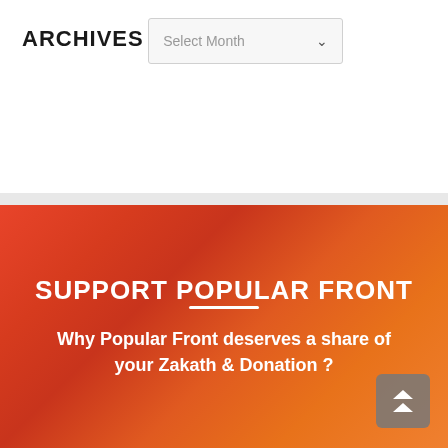ARCHIVES
Select Month
SUPPORT POPULAR FRONT
Why Popular Front deserves a share of your Zakath & Donation ?